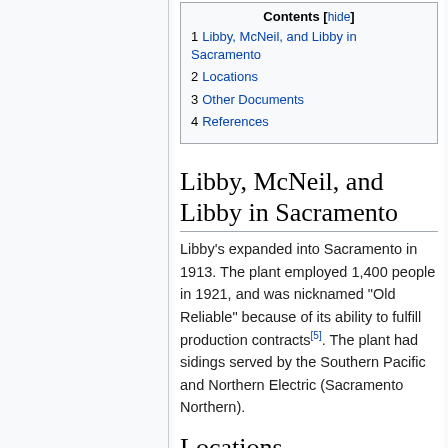1 Libby, McNeil, and Libby in Sacramento
2 Locations
3 Other Documents
4 References
Libby, McNeil, and Libby in Sacramento
Libby's expanded into Sacramento in 1913. The plant employed 1,400 people in 1921, and was nicknamed "Old Reliable" because of its ability to fulfill production contracts[5]. The plant had sidings served by the Southern Pacific and Northern Electric (Sacramento Northern).
Locations